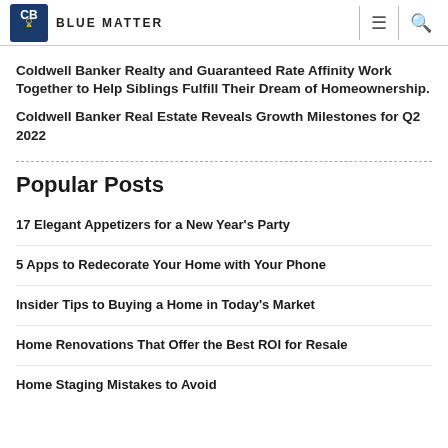Blue Matter
Coldwell Banker Realty and Guaranteed Rate Affinity Work Together to Help Siblings Fulfill Their Dream of Homeownership.
Coldwell Banker Real Estate Reveals Growth Milestones for Q2 2022
Popular Posts
17 Elegant Appetizers for a New Year's Party
5 Apps to Redecorate Your Home with Your Phone
Insider Tips to Buying a Home in Today's Market
Home Renovations That Offer the Best ROI for Resale
Home Staging Mistakes to Avoid